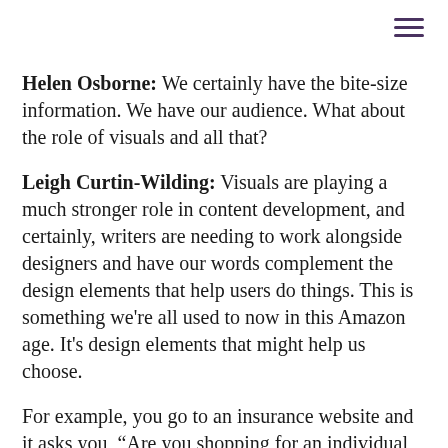[Figure (other): Hamburger menu icon (three horizontal purple lines) in the top-right corner]
Helen Osborne: We certainly have the bite-size information. We have our audience. What about the role of visuals and all that?
Leigh Curtin-Wilding: Visuals are playing a much stronger role in content development, and certainly, writers are needing to work alongside designers and have our words complement the design elements that help users do things. This is something we're all used to now in this Amazon age. It's design elements that might help us choose.
For example, you go to an insurance website and it asks you, “Are you shopping for an individual or an employer?” It asks you questions that